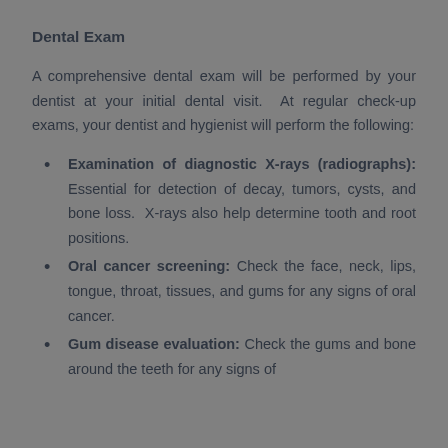Dental Exam
A comprehensive dental exam will be performed by your dentist at your initial dental visit. At regular check-up exams, your dentist and hygienist will perform the following:
Examination of diagnostic X-rays (radiographs): Essential for detection of decay, tumors, cysts, and bone loss. X-rays also help determine tooth and root positions.
Oral cancer screening: Check the face, neck, lips, tongue, throat, tissues, and gums for any signs of oral cancer.
Gum disease evaluation: Check the gums and bone around the teeth for any signs of